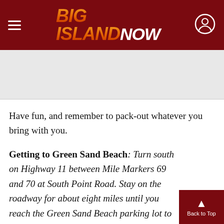BIG ISLAND NOW
[Figure (other): Gray advertisement placeholder area]
Have fun, and remember to pack-out whatever you bring with you.
Getting to Green Sand Beach: Turn south on Highway 11 between Mile Markers 69 and 70 at South Point Road. Stay on the roadway for about eight miles until you reach the Green Sand Beach parking lot to the left. From there, your hike will begin along the coast.